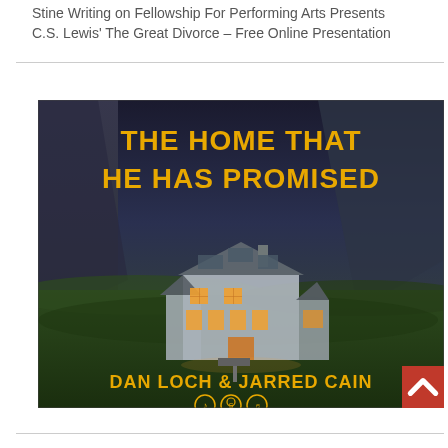Stine Writing on Fellowship For Performing Arts Presents C.S. Lewis' The Great Divorce – Free Online Presentation
[Figure (illustration): Promotional image for 'The Home That He Has Promised' by Dan Loch & Jarred Cain. Shows a weathered house with glowing windows set against a dramatic dusk landscape with mountains. Bold yellow text displays the title and artists' names, with music streaming icons at the bottom.]